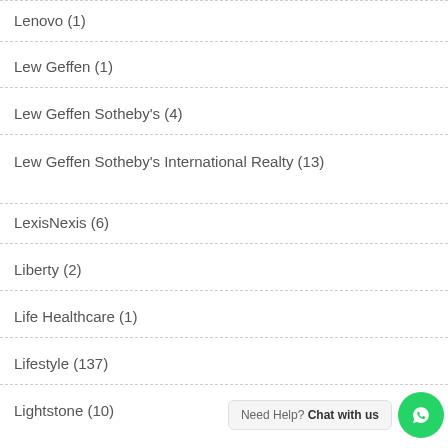Lenovo (1)
Lew Geffen (1)
Lew Geffen Sotheby's (4)
Lew Geffen Sotheby's International Realty (13)
LexisNexis (6)
Liberty (2)
Life Healthcare (1)
Lifestyle (137)
Lightstone (10)